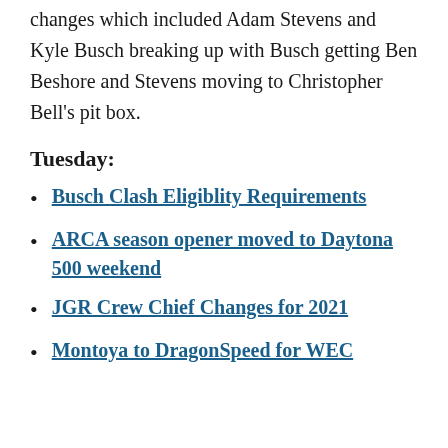changes which included Adam Stevens and Kyle Busch breaking up with Busch getting Ben Beshore and Stevens moving to Christopher Bell's pit box.
Tuesday:
Busch Clash Eligiblity Requirements
ARCA season opener moved to Daytona 500 weekend
JGR Crew Chief Changes for 2021
Montoya to DragonSpeed for WEC